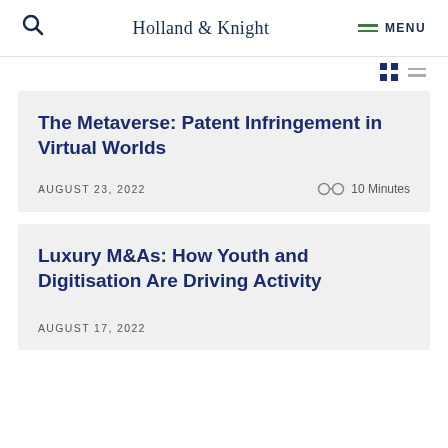Holland & Knight
The Metaverse: Patent Infringement in Virtual Worlds
AUGUST 23, 2022
10 Minutes
Luxury M&As: How Youth and Digitisation Are Driving Activity
AUGUST 17, 2022